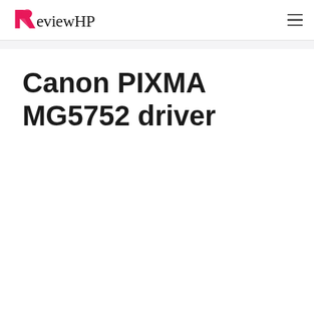ReviewHP
Canon PIXMA MG5752 driver